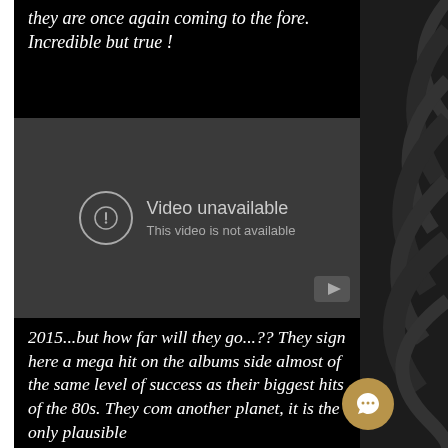they are once again coming to the fore. Incredible but true !
[Figure (screenshot): YouTube embedded video player showing 'Video unavailable - This video is not available' message with a warning icon circle and YouTube logo button in the bottom right corner.]
2015...but how far will they go...?? They sign here a mega hit on the albums side almost of the same level of success as their biggest hits of the 80s. They com... another planet, it is the only plausible...